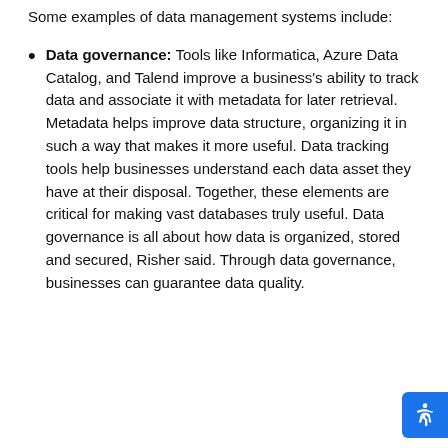Some examples of data management systems include:
Data governance: Tools like Informatica, Azure Data Catalog, and Talend improve a business's ability to track data and associate it with metadata for later retrieval. Metadata helps improve data structure, organizing it in such a way that makes it more useful. Data tracking tools help businesses understand each data asset they have at their disposal. Together, these elements are critical for making vast databases truly useful. Data governance is all about how data is organized, stored and secured, Risher said. Through data governance, businesses can guarantee data quality.